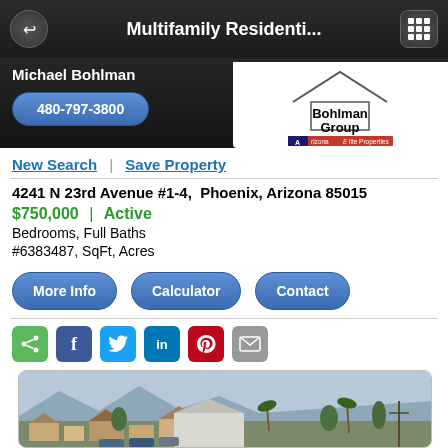Multifamily Residenti...
Michael Bohlman
480-797-3800
New Search  Save Property
4241 N 23rd Avenue #1-4,  Phoenix, Arizona 85015
$750,000 | Active
Bedrooms, Full Baths
#6383487, SqFt, Acres
[Figure (photo): Aerial photo of Phoenix neighborhood showing residential properties, palm trees, and mountains in background]